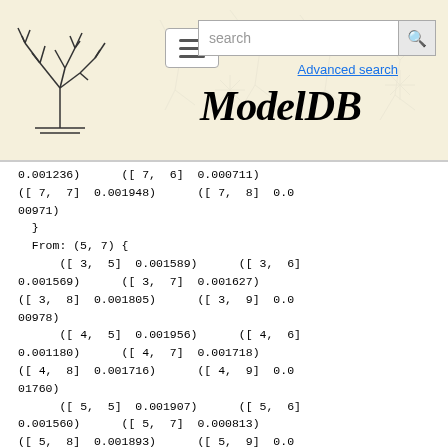[Figure (screenshot): ModelDB website header with logo, hamburger menu, search bar, and italic ModelDB title on a beige patterned background]
0.001236)      ([ 7,  6]  0.000711)
([ 7,  7]  0.001948)      ([ 7,  8]  0.000971)
  }
  From: (5, 7) {
      ([ 3,  5]  0.001589)      ([ 3,  6]  0.001569)      ([ 3,  7]  0.001627)
([ 3,  8]  0.001805)      ([ 3,  9]  0.000978)
      ([ 4,  5]  0.001956)      ([ 4,  6]  0.001180)      ([ 4,  7]  0.001718)
([ 4,  8]  0.001716)      ([ 4,  9]  0.001760)
      ([ 5,  5]  0.001907)      ([ 5,  6]  0.001560)      ([ 5,  7]  0.000813)
([ 5,  8]  0.001893)      ([ 5,  9]  0.001566)
      ([ 6,  5]  0.001808)      ([ 6,  6]  0.001273)      ([ 6,  7]  0.001888)
([ 6,  8]  0.001184)      ([ 6,  9]  0.0